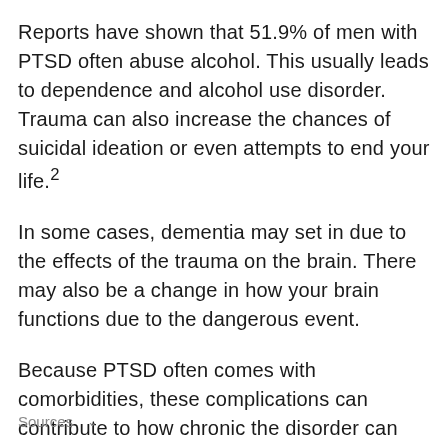Reports have shown that 51.9% of men with PTSD often abuse alcohol. This usually leads to dependence and alcohol use disorder. Trauma can also increase the chances of suicidal ideation or even attempts to end your life.²
In some cases, dementia may set in due to the effects of the trauma on the brain. There may also be a change in how your brain functions due to the dangerous event.
Because PTSD often comes with comorbidities, these complications can contribute to how chronic the disorder can be.²
Sources ∨